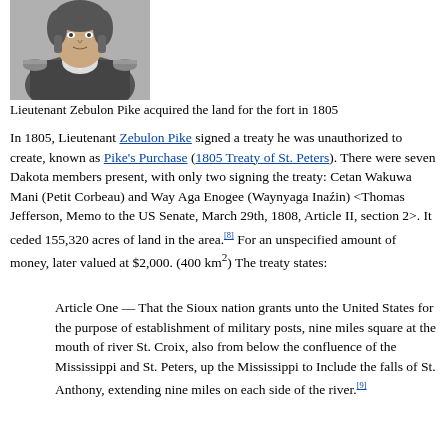[Figure (photo): Black and white portrait illustration of Lieutenant Zebulon Pike in military uniform]
Lieutenant Zebulon Pike acquired the land for the fort in 1805
In 1805, Lieutenant Zebulon Pike signed a treaty he was unauthorized to create, known as Pike's Purchase (1805 Treaty of St. Peters). There were seven Dakota members present, with only two signing the treaty: Cetan Wakuwa Mani (Petit Corbeau) and Way Aga Enogee (Waynyaga Inaźin) <Thomas Jefferson, Memo to the US Senate, March 29th, 1808, Article II, section 2>. It ceded 155,320 acres of land in the area.[8] For an unspecified amount of money, later valued at $2,000. (400 km2) The treaty states:
Article One — That the Sioux nation grants unto the United States for the purpose of establishment of military posts, nine miles square at the mouth of river St. Croix, also from below the confluence of the Mississippi and St. Peters, up the Mississippi to Include the falls of St. Anthony, extending nine miles on each side of the river.[9]